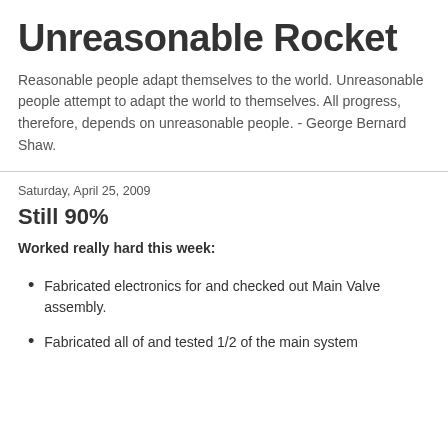Unreasonable Rocket
Reasonable people adapt themselves to the world. Unreasonable people attempt to adapt the world to themselves. All progress, therefore, depends on unreasonable people. - George Bernard Shaw.
Saturday, April 25, 2009
Still 90%
Worked really hard this week:
Fabricated electronics for and checked out Main Valve assembly.
Fabricated all of and tested 1/2 of the main system